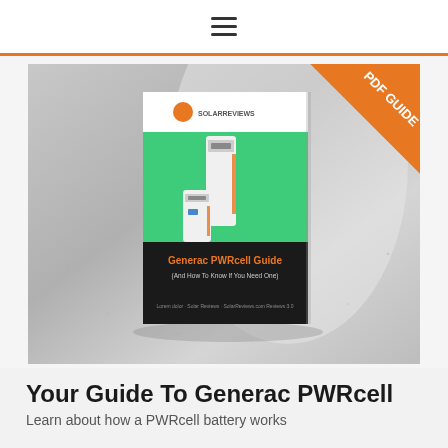☰
[Figure (photo): A PDF guide book cover for 'Generac PWRcell Guide (And How To Know If You Need One)' with a green and black design showing PWRcell battery units, displayed on a concrete surface. An orange corner ribbon reads 'PDF GUIDE'.]
Your Guide To Generac PWRcell
Learn about how a PWRcell battery works